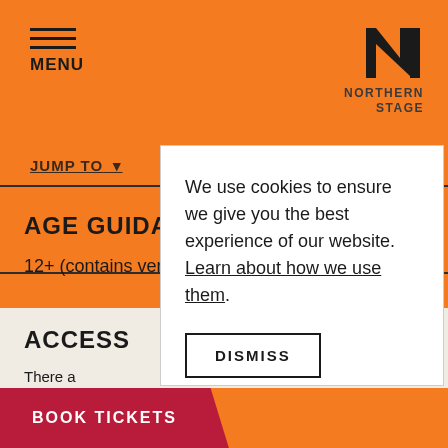MENU
[Figure (logo): Northern Stage logo — bold N mark with NORTHERN STAGE text]
JUMP TO
AGE GUIDANCE
12+ (contains very mild nudity)
ACCESS
There a... Entrance... Main En...
Both lev... into the...
We use cookies to ensure we give you the best experience of our website. Learn about how we use them.
DISMISS
BOOK TICKETS